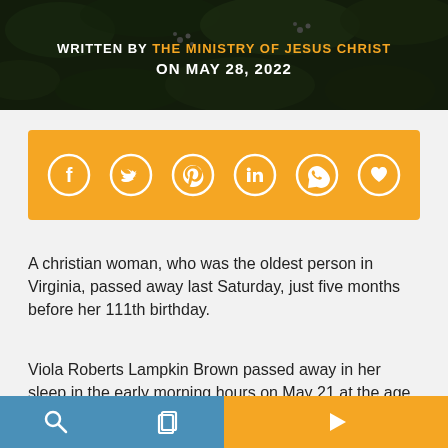[Figure (photo): Green foliage/plant background with dark overlay and text reading 'WRITTEN BY THE MINISTRY OF JESUS CHRIST ON MAY 28, 2022']
[Figure (infographic): Golden/amber social share bar with white circular icons for Facebook, Twitter, Pinterest, LinkedIn, WhatsApp, and a heart/save button]
A christian woman, who was the oldest person in Virginia, passed away last Saturday, just five months before her 111th birthday.
Viola Roberts Lampkin Brown passed away in her sleep in the early morning hours on May 21 at the age of 110. Her great-nephew, Andrew Roberts, confirmed the news, telling the christian Post that 'she went quietly in her sleep.'
[Figure (screenshot): Bottom navigation bar split into blue (left with search and copy icons) and gold/amber (right with play/next arrow icon) sections]